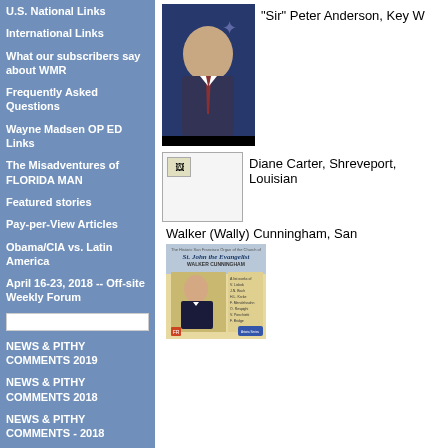U.S. National Links
International Links
What our subscribers say about WMR
Frequently Asked Questions
Wayne Madsen OP ED Links
The Misadventures of FLORIDA MAN
Featured stories
Pay-per-View Articles
Obama/CIA vs. Latin America
April 16-23, 2018 -- Off-site Weekly Forum
NEWS & PITHY COMMENTS 2019
NEWS & PITHY COMMENTS 2018
NEWS & PITHY COMMENTS - 2018
NEWS & PITHY COMMENTS - 2018
NEWS AND PITHY COMMENTS - 2017
NEWS & PITHY
[Figure (photo): Photo of a man in a suit against a blue background, identified as Sir Peter Anderson, Key W...]
"Sir" Peter Anderson, Key W
[Figure (photo): Small image placeholder for Diane Carter, Shreveport, Louisiana]
Diane Carter, Shreveport, Louisian
Walker (Wally) Cunningham, San
[Figure (illustration): Album cover for St. John the Evangelist organ music performed by Walker Cunningham. The Historic San Francisco Organ of the Church of St. John the Evangelist. Features a painted portrait of Walker Cunningham in formal attire.]